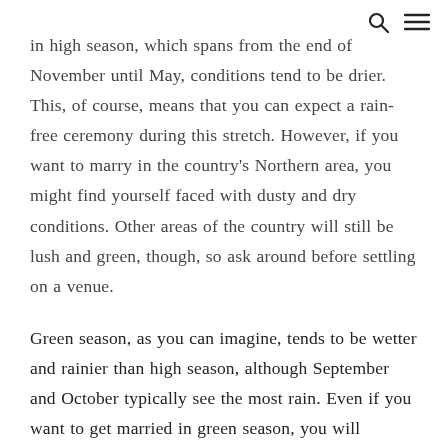🔍 ≡
in high season, which spans from the end of November until May, conditions tend to be drier. This, of course, means that you can expect a rain-free ceremony during this stretch. However, if you want to marry in the country's Northern area, you might find yourself faced with dusty and dry conditions. Other areas of the country will still be lush and green, though, so ask around before settling on a venue.
Green season, as you can imagine, tends to be wetter and rainier than high season, although September and October typically see the most rain. Even if you want to get married in green season, you will probably be able to get some sunshine — the morning and early afternoon tends to be sunnier than the rest of the day. And of course...